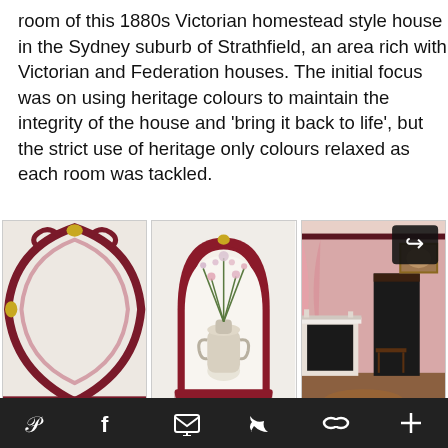room of this 1880s Victorian homestead style house in the Sydney suburb of Strathfield, an area rich with Victorian and Federation houses. The initial focus was on using heritage colours to maintain the integrity of the house and ‘bring it back to life’, but the strict use of heritage only colours relaxed as each room was tackled.
[Figure (photo): Three interior photos of a Victorian homestead: left shows decorative wall molding in dark red/maroon on white walls; center shows a red-framed arch wall niche with a floral vase arrangement; right shows a pink room with fireplace, curtains, and Victorian decor. A share button overlay appears on the right image.]
Social sharing icons: Pinterest, Facebook, Email, Twitter, Link, Plus